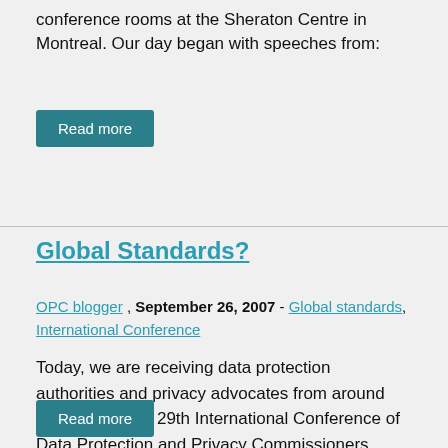conference rooms at the Sheraton Centre in Montreal. Our day began with speeches from:
Read more
Global Standards?
OPC blogger , September 26, 2007 - Global standards, International Conference
Today, we are receiving data protection authorities and privacy advocates from around the world at the 29th International Conference of Data Protection and Privacy Commissioners.
Read more